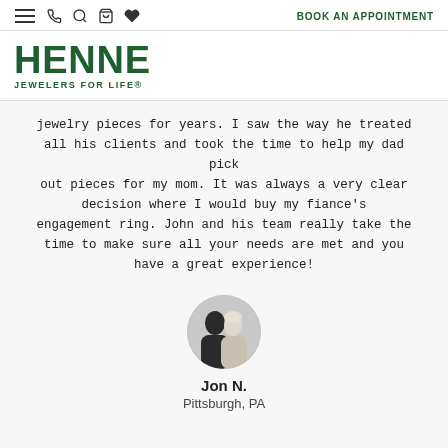BOOK AN APPOINTMENT
[Figure (logo): Henne Jewelers for Life logo in dark green]
jewelry pieces for years. I saw the way he treated all his clients and took the time to help my dad pick out pieces for my mom. It was always a very clear decision where I would buy my fiance's engagement ring. John and his team really take the time to make sure all your needs are met and you have a great experience!
[Figure (photo): Circular profile photo of a couple, man and woman smiling together]
Jon N.
Pittsburgh, PA